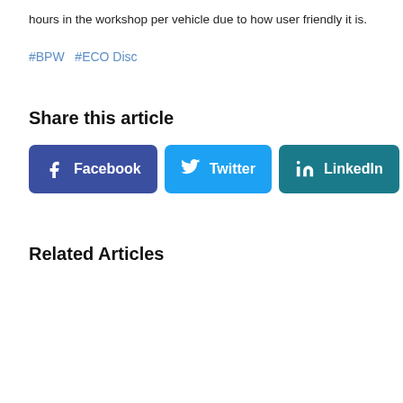hours in the workshop per vehicle due to how user friendly it is.
#BPW  #ECO Disc
Share this article
[Figure (other): Social share buttons: Facebook (blue), Twitter (light blue), LinkedIn (teal)]
Related Articles